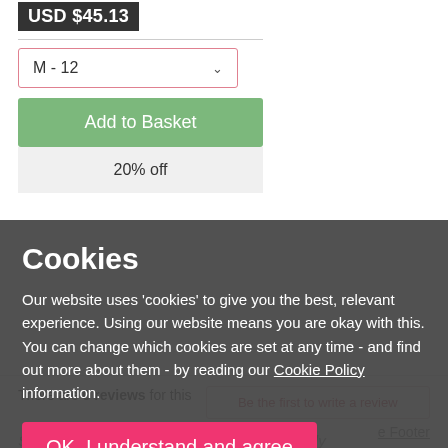USD $45.13
M - 12
Add to Basket
20% off
There are 0 reviews for this
Be the first to write a review
Cookies
Our website uses 'cookies' to give you the best, relevant experience. Using our website means you are okay with this. You can change which cookies are set at any time - and find out more about them - by reading our Cookie Policy information.
OK, I understand and agree
Share this product with your friends and family
e Footer